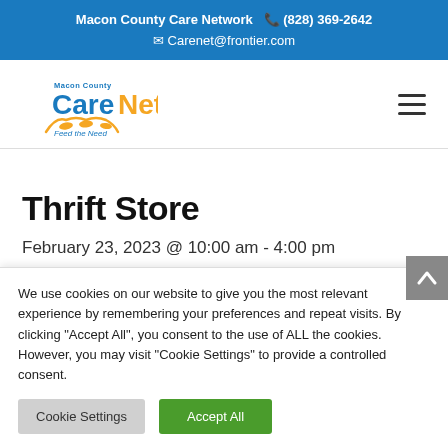Macon County Care Network  (828) 369-2642  Carenet@frontier.com
[Figure (logo): Macon County CareNet - Feed the Need logo with wheat graphic]
Thrift Store
February 23, 2023 @ 10:00 am - 4:00 pm
We use cookies on our website to give you the most relevant experience by remembering your preferences and repeat visits. By clicking "Accept All", you consent to the use of ALL the cookies. However, you may visit "Cookie Settings" to provide a controlled consent.
Cookie Settings  Accept All